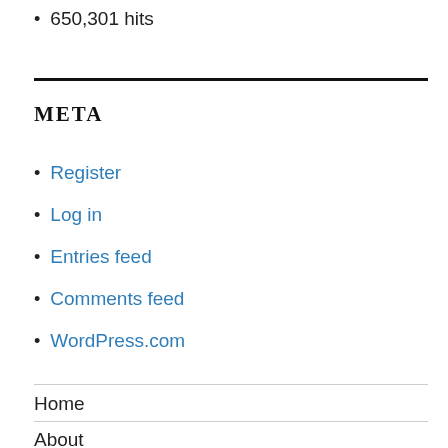650,301 hits
META
Register
Log in
Entries feed
Comments feed
WordPress.com
Home
About